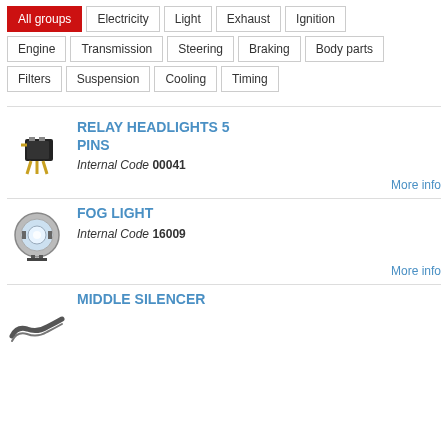All groups
Electricity
Light
Exhaust
Ignition
Engine
Transmission
Steering
Braking
Body parts
Filters
Suspension
Cooling
Timing
RELAY HEADLIGHTS 5 PINS
Internal Code 00041
FOG LIGHT
Internal Code 16009
MIDDLE SILENCER